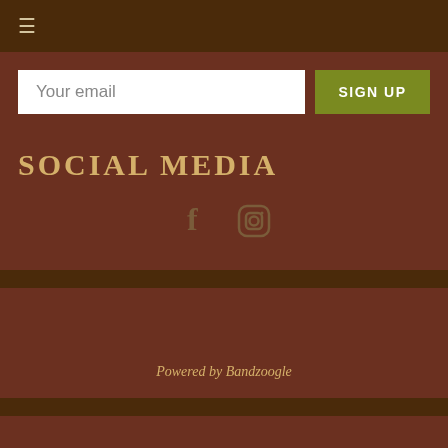≡ (hamburger menu icon)
Your email
SIGN UP
SOCIAL MEDIA
[Figure (illustration): Facebook and Instagram social media icons in muted tan/gold on brown background]
Powered by Bandzoogle
Chiro Chacho
[Figure (other): Media player controls: skip back, play, skip forward]